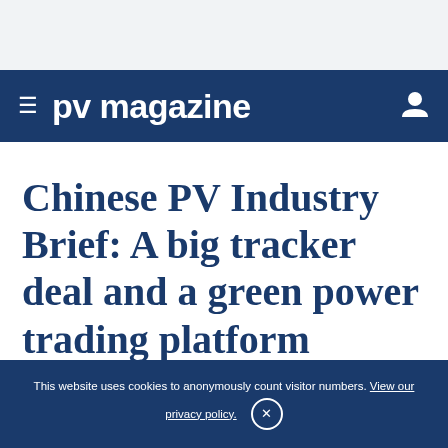≡ pv magazine
Chinese PV Industry Brief: A big tracker deal and a green power trading platform
This website uses cookies to anonymously count visitor numbers. View our privacy policy. ×